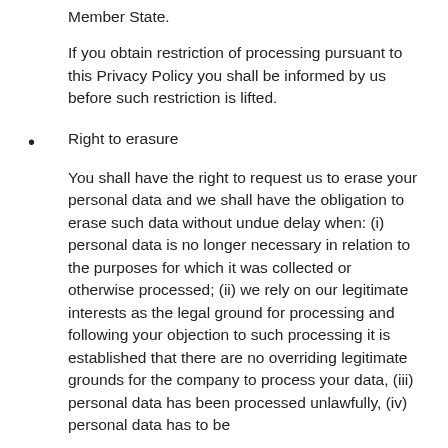Member State.
If you obtain restriction of processing pursuant to this Privacy Policy you shall be informed by us before such restriction is lifted.
Right to erasure
You shall have the right to request us to erase your personal data and we shall have the obligation to erase such data without undue delay when: (i) personal data is no longer necessary in relation to the purposes for which it was collected or otherwise processed; (ii) we rely on our legitimate interests as the legal ground for processing and following your objection to such processing it is established that there are no overriding legitimate grounds for the company to process your data, (iii) personal data has been processed unlawfully, (iv) personal data has to be